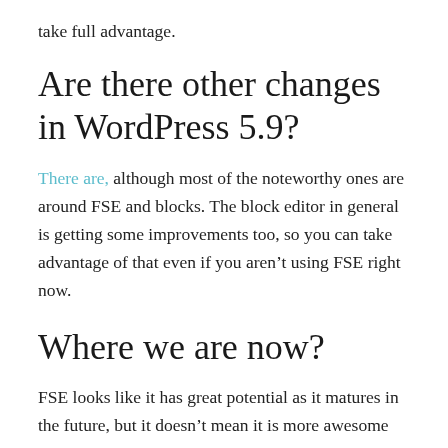take full advantage.
Are there other changes in WordPress 5.9?
There are, although most of the noteworthy ones are around FSE and blocks. The block editor in general is getting some improvements too, so you can take advantage of that even if you aren't using FSE right now.
Where we are now?
FSE looks like it has great potential as it matures in the future, but it doesn't mean it is more awesome